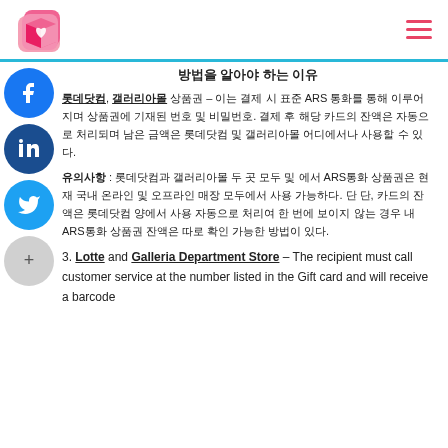방법을 알아야 하는 이유 (partial, cut off)
롯데닷컴, 갤러리아몰 상품권 – 이는 결제 시 표준 ARS 통화를 통해 이루어지며 상품권에 기재된 번호 및 비밀번호. 결제 후 해당 카드의 잔액은 자동으로 처리되며 남은 금액은 롯데닷컴 및 갤러리아몰 어디에서나 사용할 수 있다.
유의사항 : 롯데닷컴과 갤러리아몰 두 곳 모두 및 에서 ARS통화 상품권은 현재 국내 온라인 및 오프라인 매장 모두에서 사용 가능하다. 단 단, 카드의 잔액은 롯데닷컴 양에서 사용 자동으로 처리여 한 번에 보이지 않는 경우 내 ARS통화 상품권 잔액은 따로 확인 가능한 방법이 있다.
3. Lotte and Galleria Department Store – The recipient must call customer service at the number listed in the Gift card and will receive a barcode through the number that they can use for purchases.